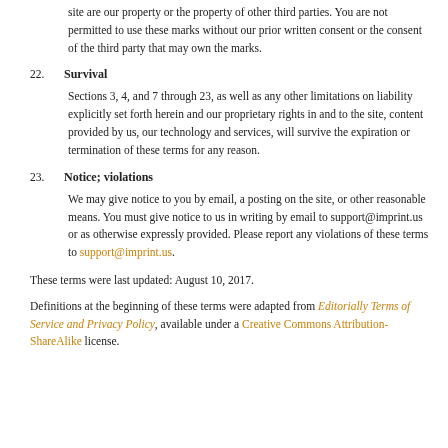site are our property or the property of other third parties. You are not permitted to use these marks without our prior written consent or the consent of the third party that may own the marks.
22. Survival
Sections 3, 4, and 7 through 23, as well as any other limitations on liability explicitly set forth herein and our proprietary rights in and to the site, content provided by us, our technology and services, will survive the expiration or termination of these terms for any reason.
23. Notice; violations
We may give notice to you by email, a posting on the site, or other reasonable means. You must give notice to us in writing by email to support@imprint.us or as otherwise expressly provided. Please report any violations of these terms to support@imprint.us.
These terms were last updated: August 10, 2017.
Definitions at the beginning of these terms were adapted from Editorially Terms of Service and Privacy Policy, available under a Creative Commons Attribution-ShareAlike license.